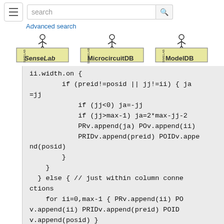search [search box] [Advanced search]
[Figure (logo): Three logos in a row: SenseLab, MicrocircuitDB, ModelDB — each with a stick figure on top and a yellow-green box with the database name]
ii.width.on {
        if (preid!=posid || jj!=ii) { ja=jj
            if (jj<0) ja=-jj
            if (jj>max-1) ja=2*max-jj-2
            PRv.append(ja) POv.append(ii)
            PRIDv.append(preid) POIDv.append(posid)
        }
    }
  } else { // just within column connections
    for ii=0,max-1 { PRv.append(ii) POv.append(ii) PRIDv.append(preid) POIDv.append(posid) }
  }
  sp.pad()
  // WID0v.fill(styp1,sz,PRv.size-1)
  // WID1v.fill(styp2,sz,PRv.size-1)
}